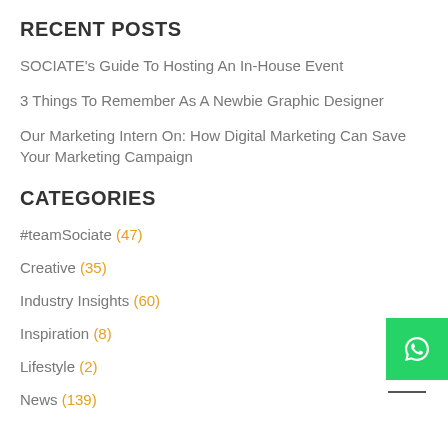RECENT POSTS
SOCIATE's Guide To Hosting An In-House Event
3 Things To Remember As A Newbie Graphic Designer
Our Marketing Intern On: How Digital Marketing Can Save Your Marketing Campaign
[Figure (logo): WhatsApp green button icon]
CATEGORIES
#teamSociate (47)
Creative (35)
Industry Insights (60)
Inspiration (8)
Lifestyle (2)
News (139)